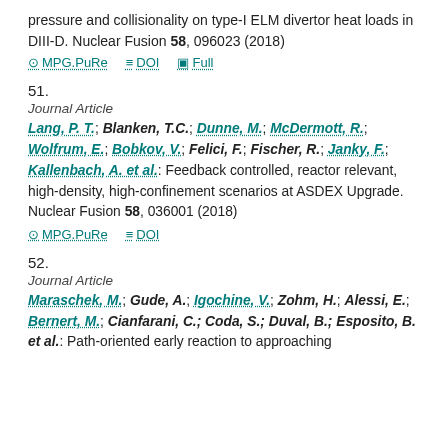pressure and collisionality on type-I ELM divertor heat loads in DIII-D. Nuclear Fusion 58, 096023 (2018)
MPG.PuRe  DOI  Full
51.
Journal Article
Lang, P. T.; Blanken, T.C.; Dunne, M.; McDermott, R.; Wolfrum, E.; Bobkov, V.; Felici, F.; Fischer, R.; Janky, F.; Kallenbach, A. et al.: Feedback controlled, reactor relevant, high-density, high-confinement scenarios at ASDEX Upgrade. Nuclear Fusion 58, 036001 (2018)
MPG.PuRe  DOI
52.
Journal Article
Maraschek, M.; Gude, A.; Igochine, V.; Zohm, H.; Alessi, E.; Bernert, M.; Cianfarani, C.; Coda, S.; Duval, B.; Esposito, B. et al.: Path-oriented early reaction to approaching